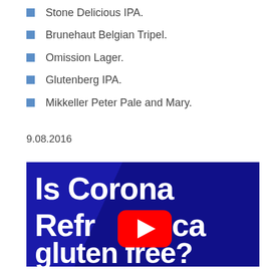Stone Delicious IPA.
Brunehaut Belgian Tripel.
Omission Lager.
Glutenberg IPA.
Mikkeller Peter Pale and Mary.
9.08.2016
[Figure (screenshot): YouTube video thumbnail with dark blue background showing text 'Is Corona Refresca gluten free?' with a YouTube play button overlay in the center.]